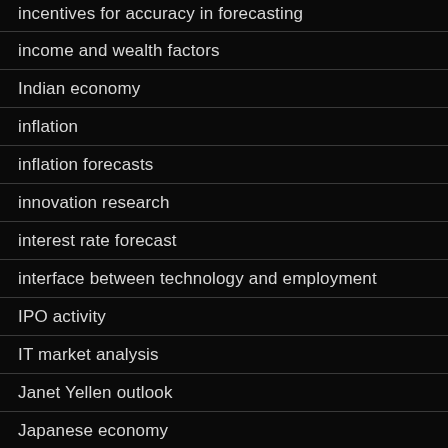incentives for accuracy in forecasting
income and wealth factors
Indian economy
inflation
inflation forecasts
innovation research
interest rate forecast
interface between technology and employment
IPO activity
IT market analysis
Janet Yellen outlook
Japanese economy
k-means clustering